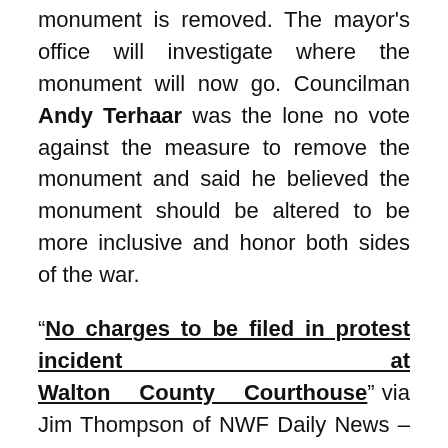monument is removed. The mayor's office will investigate where the monument will now go. Councilman Andy Terhaar was the lone no vote against the measure to remove the monument and said he believed the monument should be altered to be more inclusive and honor both sides of the war.
"No charges to be filed in protest incident at Walton County Courthouse" via Jim Thompson of NWF Daily News – Cellphone video from a Sunday incident at the Walton County Courthouse, where advocates of removing a Confederate memorial held a rally as a group of counter-demonstrators stood around the memorial, shows apparently accidental contact between an opponent and